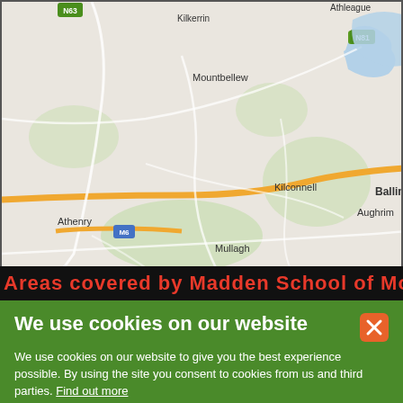[Figure (map): Google Maps screenshot showing a region of Ireland including towns such as Athlone, Ballinasloe, Mountbellew, Kilconnell, Aughrim, Loughrea, Mullagh, Banagher, Portumna, Birr, Kinnitty, Kilcormac, Ferbane, Clara, Glasson, Mount Temple, Athenry. Roads including M6, N55, N63, N81, N62, N65, N66, N18 are visible.]
Areas covered by Madden School of Motoring
We use cookies on our website
We use cookies on our website to give you the best experience possible. By using the site you consent to cookies from us and third parties. Find out more